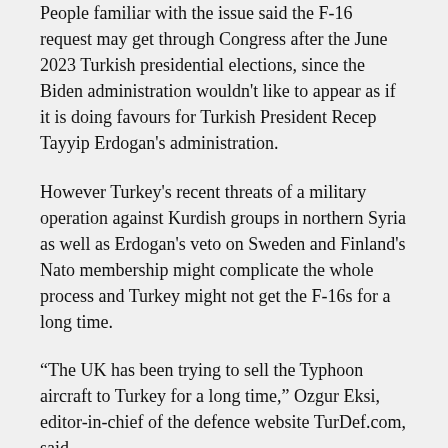People familiar with the issue said the F-16 request may get through Congress after the June 2023 Turkish presidential elections, since the Biden administration wouldn't like to appear as if it is doing favours for Turkish President Recep Tayyip Erdogan's administration.
However Turkey's recent threats of a military operation against Kurdish groups in northern Syria as well as Erdogan's veto on Sweden and Finland's Nato membership might complicate the whole process and Turkey might not get the F-16s for a long time.
“The UK has been trying to sell the Typhoon aircraft to Turkey for a long time,” Ozgur Eksi, editor-in-chief of the defence website TurDef.com, said.
“Italy, as part of the consortium, also tried its best a decade ago but couldn't convince the Turks at the time who were focused on getting the American hardware.”
'Proven track record'